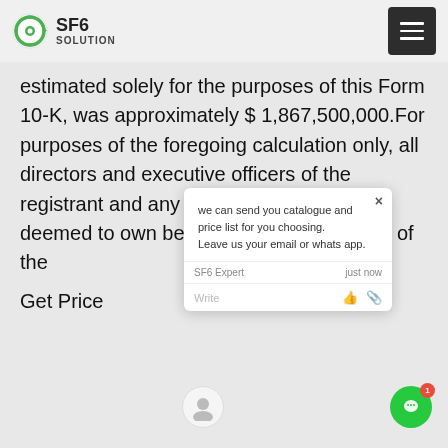SF6 SOLUTION
estimated solely for the purposes of this Form 10-K, was approximately $ 1,867,500,000.For purposes of the foregoing calculation only, all directors and executive officers of the registrant and any person who may be deemed to own beneficially more than 5% of the
Get Price
[Figure (screenshot): Chat popup from SF6 Expert saying: we can send you catalogue and price list for you choosing. Leave us your email or whatsapp. With Write field and avatar.]